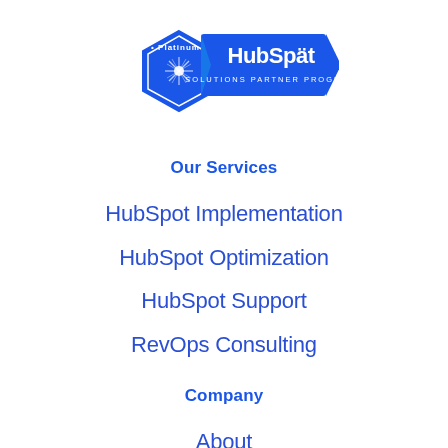[Figure (logo): HubSpot Platinum Solutions Partner Program badge with hexagon shape and blue ribbon banner]
Our Services
HubSpot Implementation
HubSpot Optimization
HubSpot Support
RevOps Consulting
Company
About
Careers
Contact Us